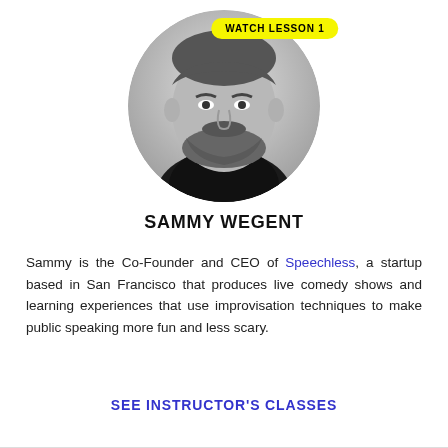[Figure (photo): Circular black-and-white headshot of Sammy Wegent, a bearded man in a dark shirt, with a yellow 'WATCH LESSON 1' badge overlaid at top right of the circle.]
SAMMY WEGENT
Sammy is the Co-Founder and CEO of Speechless, a startup based in San Francisco that produces live comedy shows and learning experiences that use improvisation techniques to make public speaking more fun and less scary.
SEE INSTRUCTOR'S CLASSES